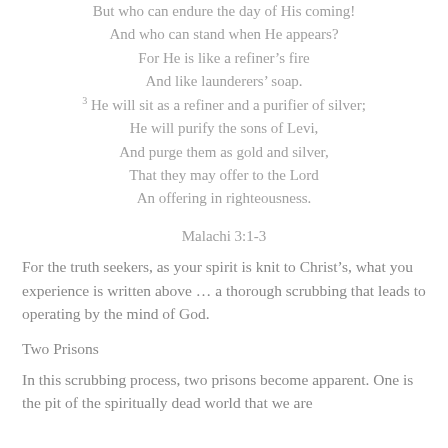But who can endure the day of His coming!
And who can stand when He appears?
For He is like a refiner’s fire
And like launderers’ soap.
3 He will sit as a refiner and a purifier of silver;
He will purify the sons of Levi,
And purge them as gold and silver,
That they may offer to the Lord
An offering in righteousness.
Malachi 3:1-3
For the truth seekers, as your spirit is knit to Christ’s, what you experience is written above … a thorough scrubbing that leads to operating by the mind of God.
Two Prisons
In this scrubbing process, two prisons become apparent. One is the pit of the spiritually dead world that we are